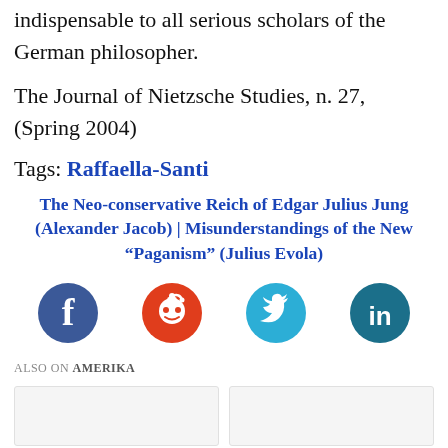indispensable to all serious scholars of the German philosopher.
The Journal of Nietzsche Studies, n. 27, (Spring 2004)
Tags: Raffaella-Santi
The Neo-conservative Reich of Edgar Julius Jung (Alexander Jacob) | Misunderstandings of the New “Paganism” (Julius Evola)
[Figure (other): Social media share buttons: Facebook (blue circle), Reddit (red circle), Twitter (cyan circle), LinkedIn (dark teal circle)]
ALSO ON AMERIKA
[Figure (other): Two partially visible article card thumbnails]